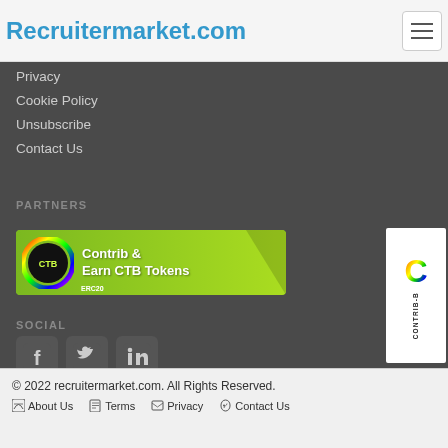Recruitermarket.com
Privacy
Cookie Policy
Unsubscribe
Contact Us
PARTNERS
[Figure (logo): CTB banner: Contrib & Earn CTB Tokens, ERC20, with CTB circular logo on green background]
[Figure (logo): Contrib-B vertical logo with colorful C icon and CONTRIB-B text rotated vertically]
SOCIAL
[Figure (other): Social media icons: Facebook, Twitter, LinkedIn]
© 2022 recruitermarket.com. All Rights Reserved. About Us  Terms  Privacy  Contact Us